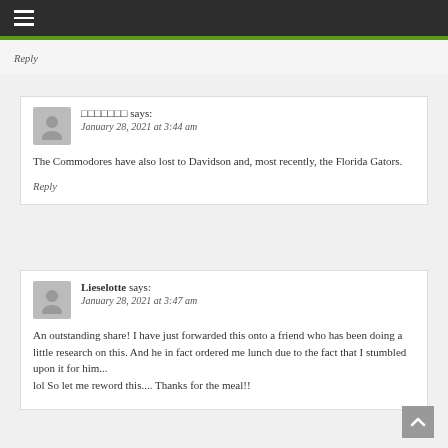Navigation menu
Reply
□□□□□□□ says: January 28, 2021 at 3:44 am
The Commodores have also lost to Davidson and, most recently, the Florida Gators.
Reply
Lieselotte says: January 28, 2021 at 3:47 am
An outstanding share! I have just forwarded this onto a friend who has been doing a little research on this. And he in fact ordered me lunch due to the fact that I stumbled upon it for him... lol So let me reword this.... Thanks for the meal!!